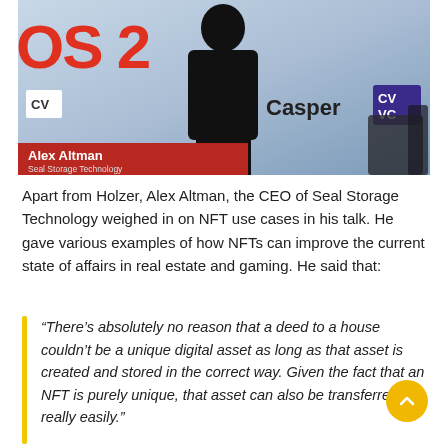[Figure (photo): Video screenshot from a conference showing Alex Altman, CEO of Seal Storage Technology, speaking at an event with 'OS 2' text visible in red on the left, Casper and CV VC logos in the background, and a red name bar at the bottom reading 'Alex Altman / Seal Storage Technology'.]
Apart from Holzer, Alex Altman, the CEO of Seal Storage Technology weighed in on NFT use cases in his talk. He gave various examples of how NFTs can improve the current state of affairs in real estate and gaming. He said that:
“There’s absolutely no reason that a deed to a house couldn’t be a unique digital asset as long as that asset is created and stored in the correct way. Given the fact that an NFT is purely unique, that asset can also be transferred really easily.”